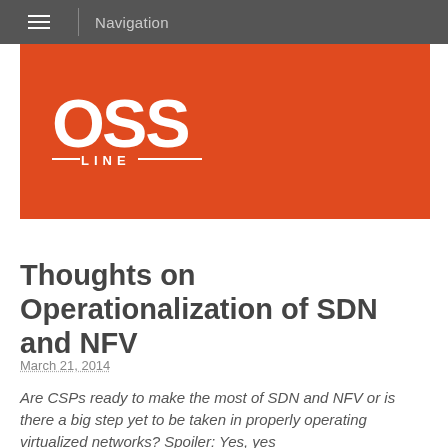Navigation
[Figure (logo): OSS LINE logo in white on orange background]
Thoughts on Operationalization of SDN and NFV
March 21, 2014
Are CSPs ready to make the most of SDN and NFV or is there a big step yet to be taken in properly operating virtualized networks? Spoiler: Yes, yes